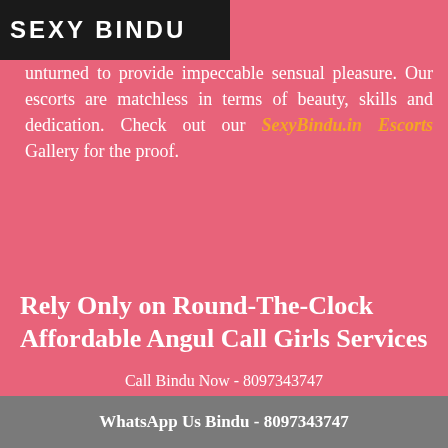SEXY BINDU
unturned to provide impeccable sensual pleasure. Our escorts are matchless in terms of beauty, skills and dedication. Check out our SexyBindu.in Escorts Gallery for the proof.
Rely Only on Round-The-Clock Affordable Angul Call Girls Services
Escorts are paid professionals who
Call Bindu Now - 8097343747
WhatsApp Us Bindu - 8097343747